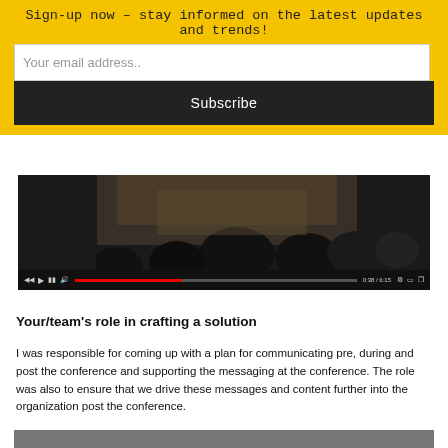Sign-up now – stay informed on the latest updates and trends!
Your email address..
Subscribe
[Figure (screenshot): Video player showing an audience at a conference, with playback controls including play, pause, and a red progress bar showing 0:38/6:15.]
Your/team's role in crafting a solution
I was responsible for coming up with a plan for communicating pre, during and post the conference and supporting the messaging at the conference. The role was also to ensure that we drive these messages and content further into the organization post the conference.
[Figure (photo): Partial image visible at bottom of page.]